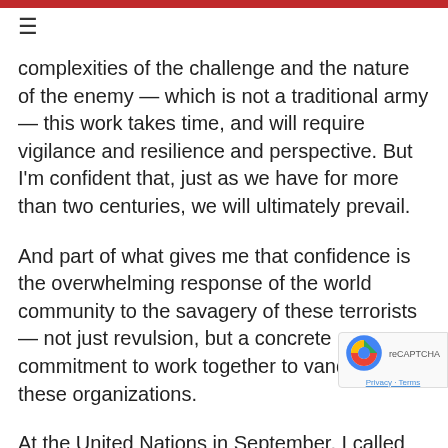≡
complexities of the challenge and the nature of the enemy — which is not a traditional army — this work takes time, and will require vigilance and resilience and perspective. But I'm confident that, just as we have for more than two centuries, we will ultimately prevail.
And part of what gives me that confidence is the overwhelming response of the world community to the savagery of these terrorists — not just revulsion, but a concrete commitment to work together to vanquish these organizations.
At the United Nations in September, I called on the international community to come together and erad this scourge of violent extremism.  And I want to tha of you — from across America and around the world — for